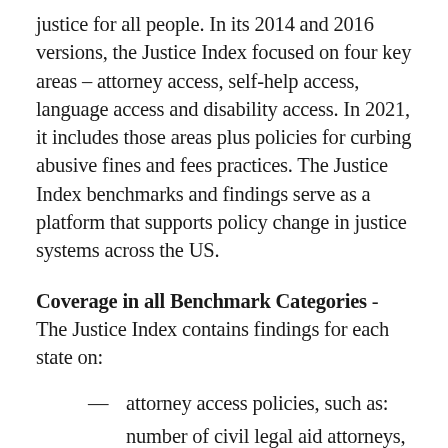justice for all people. In its 2014 and 2016 versions, the Justice Index focused on four key areas – attorney access, self-help access, language access and disability access. In 2021, it includes those areas plus policies for curbing abusive fines and fees practices. The Justice Index benchmarks and findings serve as a platform that supports policy change in justice systems across the US.
Coverage in all Benchmark Categories - The Justice Index contains findings for each state on:
attorney access policies, such as:
number of civil legal aid attorneys, civil